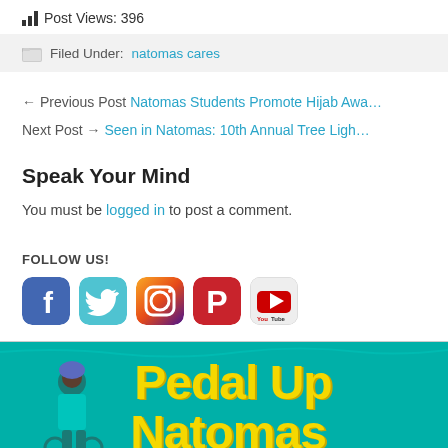Post Views: 396
Filed Under: natomas cares
← Previous Post Natomas Students Promote Hijab Awa…
Next Post → Seen in Natomas: 10th Annual Tree Ligh…
Speak Your Mind
You must be logged in to post a comment.
FOLLOW US!
[Figure (other): Social media icons: Facebook, Twitter, Instagram, Pinterest, YouTube]
[Figure (other): Banner ad: Pedal Up Natomas with teal background, yellow text, and person on bike]